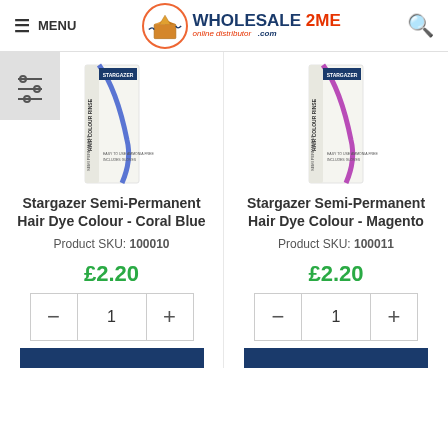MENU | Wholesale2me.com | [search icon]
[Figure (photo): Stargazer Semi-Permanent Hair Dye Colour - Coral Blue product box with blue streak]
Stargazer Semi-Permanent Hair Dye Colour - Coral Blue
Product SKU: 100010
£2.20
[Figure (photo): Stargazer Semi-Permanent Hair Dye Colour - Magento product box with purple streak]
Stargazer Semi-Permanent Hair Dye Colour - Magento
Product SKU: 100011
£2.20